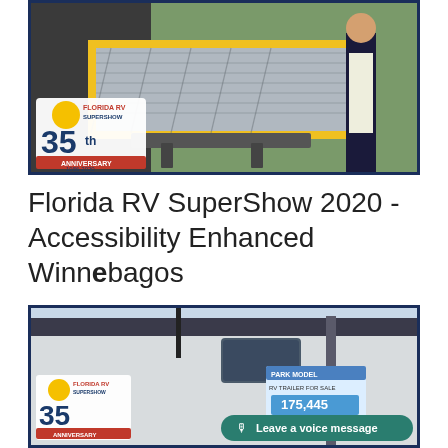[Figure (photo): Photo of an RV cargo tray/ramp extended from an RV, with yellow safety edging, with the Florida RV SuperShow 35th Anniversary 1986-2020 logo overlaid in the bottom-left corner. A person stands to the right.]
Florida RV SuperShow 2020 - Accessibility Enhanced Winnebagos
[Figure (photo): Photo of a Winnebago RV exterior at the Florida RV SuperShow, showing the side of the vehicle with a price sticker reading 175,445. The Florida RV SuperShow 35th Anniversary logo is visible in the bottom-left corner, and a 'Leave a voice message' button overlay appears in the bottom-right.]